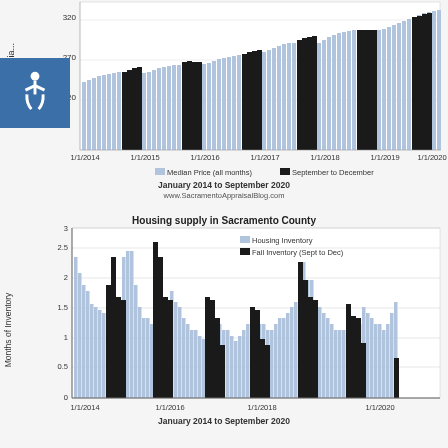[Figure (grouped-bar-chart): Monthly Median Price – January 2014 to September 2020]
[Figure (grouped-bar-chart): Housing supply in Sacramento County]